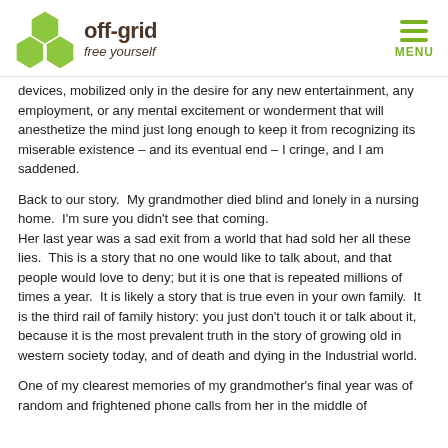off-grid free yourself | MENU
devices, mobilized only in the desire for any new entertainment, any employment, or any mental excitement or wonderment that will anesthetize the mind just long enough to keep it from recognizing its miserable existence – and its eventual end – I cringe, and I am saddened.
Back to our story.  My grandmother died blind and lonely in a nursing home.  I'm sure you didn't see that coming. Her last year was a sad exit from a world that had sold her all these lies.  This is a story that no one would like to talk about, and that people would love to deny; but it is one that is repeated millions of times a year.  It is likely a story that is true even in your own family.  It is the third rail of family history: you just don't touch it or talk about it, because it is the most prevalent truth in the story of growing old in western society today, and of death and dying in the Industrial world.
One of my clearest memories of my grandmother's final year was of random and frightened phone calls from her in the middle of the night — then they would end. My memory has closed, would be...